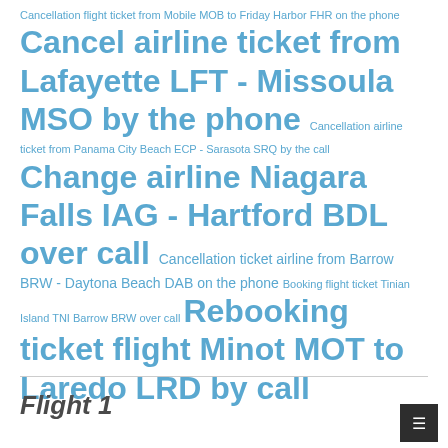Cancellation flight ticket from Mobile MOB to Friday Harbor FHR on the phone Cancel airline ticket from Lafayette LFT - Missoula MSO by the phone Cancellation airline ticket from Panama City Beach ECP - Sarasota SRQ by the call Change airline Niagara Falls IAG - Hartford BDL over call Cancellation ticket airline from Barrow BRW - Daytona Beach DAB on the phone Booking flight ticket Tinian Island TNI Barrow BRW over call Rebooking ticket flight Minot MOT to Laredo LRD by call
Flight 1